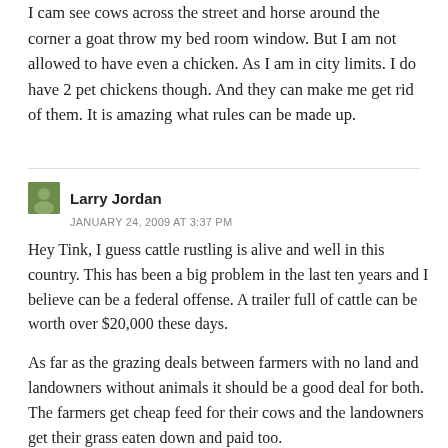I cam see cows across the street and horse around the corner a goat throw my bed room window. But I am not allowed to have even a chicken. As I am in city limits. I do have 2 pet chickens though. And they can make me get rid of them. It is amazing what rules can be made up.
Larry Jordan
JANUARY 24, 2009 AT 3:37 PM
Hey Tink, I guess cattle rustling is alive and well in this country. This has been a big problem in the last ten years and I believe can be a federal offense. A trailer full of cattle can be worth over $20,000 these days.
As far as the grazing deals between farmers with no land and landowners without animals it should be a good deal for both. The farmers get cheap feed for their cows and the landowners get their grass eaten down and paid too.